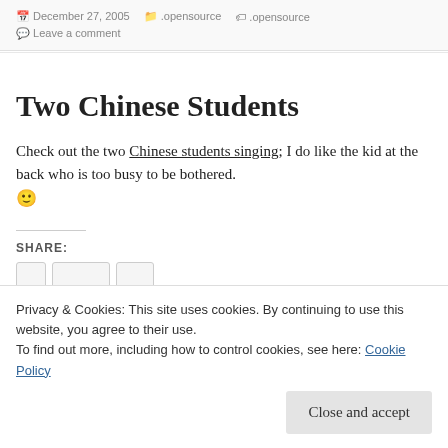December 27, 2005  .opensource  .opensource  Leave a comment
Two Chinese Students
Check out the two Chinese students singing; I do like the kid at the back who is too busy to be bothered. 🙂
SHARE:
Privacy & Cookies: This site uses cookies. By continuing to use this website, you agree to their use.
To find out more, including how to control cookies, see here: Cookie Policy